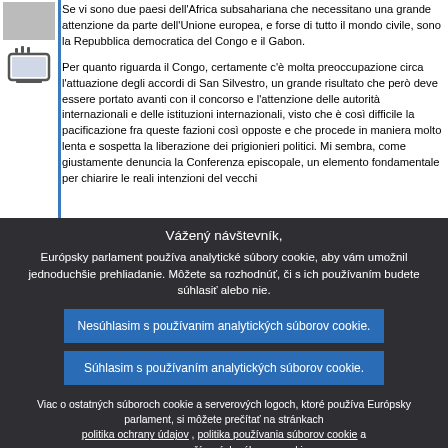[Figure (illustration): Small grey image placeholder at top and a TV/monitor icon below it in the left column]
Se vi sono due paesi dell'Africa subsahariana che necessitano una grande attenzione da parte dell'Unione europea, e forse di tutto il mondo civile, sono la Repubblica democratica del Congo e il Gabon.
Per quanto riguarda il Congo, certamente c'è molta preoccupazione circa l'attuazione degli accordi di San Silvestro, un grande risultato che però deve essere portato avanti con il concorso e l'attenzione delle autorità internazionali e delle istituzioni internazionali, visto che è così difficile la pacificazione fra queste fazioni così opposte e che procede in maniera molto lenta e sospetta la liberazione dei prigionieri politici. Mi sembra, come giustamente denuncia la Conferenza episcopale, un elemento fondamentale per chiarire le reali intenzioni del vecchi
Vážený návštevník,
Európsky parlament používa analytické súbory cookie, aby vám umožnil jednoduchšie prehliadanie. Môžete sa rozhodnúť, či s ich používaním budete súhlasiť alebo nie.
Nesúhlasim s používanim analytických súborov cookie.
Súhlasim s používaním analytických súborov cookie.
Viac o ostatných súboroch cookie a serverových logoch, ktoré používa Európsky parlament, si môžete prečítať na stránkach politika ochrany údajov , politika používania súborov cookie a zoznam používaných súborov cookie.